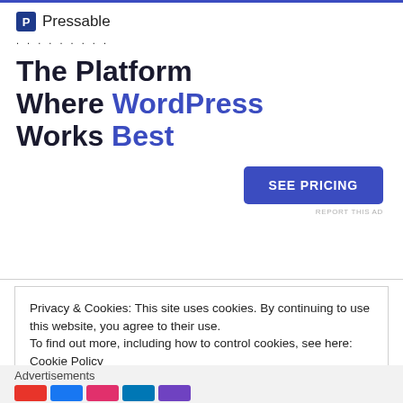[Figure (logo): Pressable logo with blue P icon and brand name]
The Platform Where WordPress Works Best
[Figure (other): SEE PRICING call-to-action button in blue]
REPORT THIS AD
Privacy & Cookies: This site uses cookies. By continuing to use this website, you agree to their use.
To find out more, including how to control cookies, see here: Cookie Policy
Close and accept
Advertisements